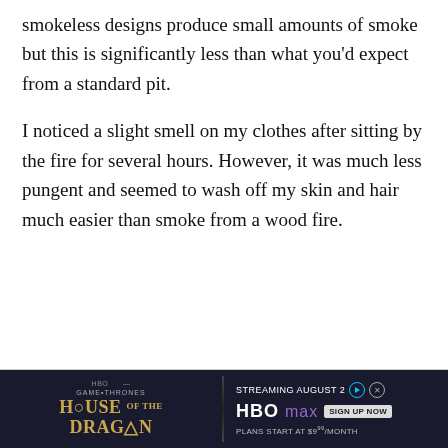smokeless designs produce small amounts of smoke but this is significantly less than what you'd expect from a standard pit.
I noticed a slight smell on my clothes after sitting by the fire for several hours. However, it was much less pungent and seemed to wash off my skin and hair much easier than smoke from a wood fire.
[Figure (other): Advertisement banner for HBO series 'House of the Dragon' with HBO Max streaming information. Left side shows dark background with gold text 'HOUSE OF THE DRAGON'. Right side shows 'STREAMING AUGUST 2' with HBO Max logo and 'PLANS START AT $9.99/MONTH'.]